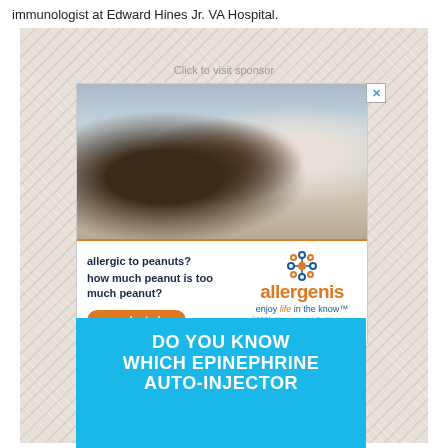immunologist at Edward Hines Jr. VA Hospital.
Click to visit sponsor
[Figure (photo): Doctor in white coat with stethoscope talking to a father and child across a desk in a medical office setting.]
allergic to peanuts? how much peanut is too much peanut?
preorder today
[Figure (logo): Allergenis logo with orange molecule icon and text 'allergenis enjoy life in the know™']
©2021 Allergenis, LLC. All rights reserved.
DO YOU KNOW WHICH EPINEPHRINE AUTO-INJECTOR